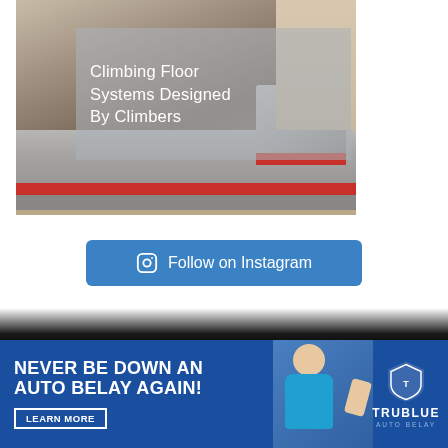[Figure (photo): Photo of gray padded climbing floor mat system with red trim edges, shown in a climbing gym setting. Overlaid text reads 'Climbing Floor Systems Designed By Climbers' on a semi-transparent gray background.]
Follow on Instagram
[Figure (photo): Dark banner/background strip above advertisement.]
[Figure (other): Advertisement banner with blue background. Headline: 'NEVER BE DOWN AN AUTO BELAY AGAIN!' with a 'LEARN MORE' button on the left, a photo of a person climbing on the right, and the TRUBLUE AUTO BELAY logo.]